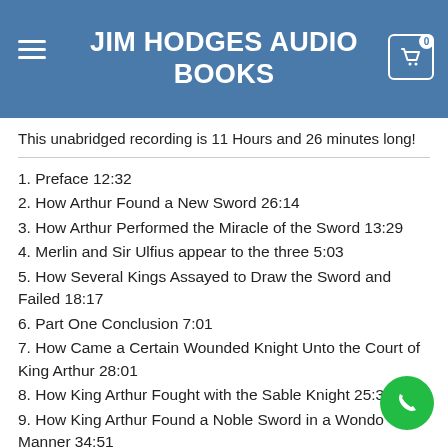JIM HODGES AUDIO BOOKS
This unabridged recording is 11 Hours and 26 minutes long!
1. Preface 12:32
2. How Arthur Found a New Sword 26:14
3. How Arthur Performed the Miracle of the Sword 13:29
4. Merlin and Sir Ulfius appear to the three 5:03
5. How Several Kings Assayed to Draw the Sword and Failed 18:17
6. Part One Conclusion 7:01
7. How Came a Certain Wounded Knight Unto the Court of King Arthur 28:01
8. How King Arthur Fought with the Sable Knight 25:35
9. How King Arthur Found a Noble Sword in a Wondrous Manner 34:51